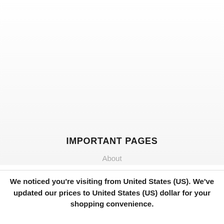IMPORTANT PAGES
About
We noticed you're visiting from United States (US). We've updated our prices to United States (US) dollar for your shopping convenience.